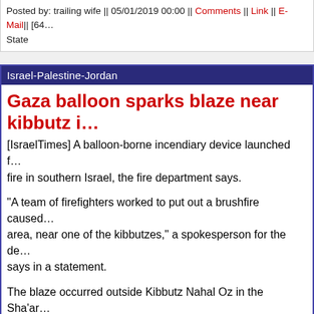Posted by: trailing wife || 05/01/2019 00:00 || Comments || Link || E-Mail|| [64... State
Israel-Palestine-Jordan
Gaza balloon sparks blaze near kibbutz i...
[IsraelTimes] A balloon-borne incendiary device launched f... fire in southern Israel, the fire department says.
"A team of firefighters worked to put out a brushfire caused... area, near one of the kibbutzes," a spokesperson for the de... says in a statement.
The blaze occurred outside Kibbutz Nahal Oz in the Sha'ar... extinguished by a team of volunteers, the fire department s...
Throughout the day, Paleostinians in the Gazoo Strip have... carrying incendiary devices into southern Israel in an appar... ceasefire agreement reached between Israel and terror gro...
Posted by: trailing wife || 05/01/2019 00:00 || Comments || Link || E-Mail|| [647...
PA court sentences Palestinian to prison...